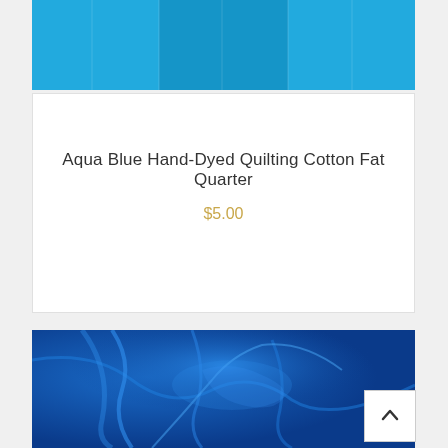[Figure (photo): Top portion of aqua blue hand-dyed quilting cotton fabric showing vertical folds in bright cyan/turquoise blue color]
Aqua Blue Hand-Dyed Quilting Cotton Fat Quarter
$5.00
[Figure (photo): Close-up photo of royal blue velvet or hand-dyed fabric with deep wrinkles and folds showing lighter blue highlights]